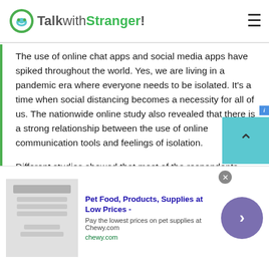TalkwithStranger!
The use of online chat apps and social media apps have spiked throughout the world. Yes, we are living in a pandemic era where everyone needs to be isolated. It's a time when social distancing becomes a necessity for all of us. The nationwide online study also revealed that there is a strong relationship between the use of online communication tools and feelings of isolation.
Different studies showed that most of the respondents turned to online chat apps. Because
[Figure (screenshot): Advertisement banner for Chewy.com: Pet Food, Products, Supplies at Low Prices - Pay the lowest prices on pet supplies at Chewy.com]